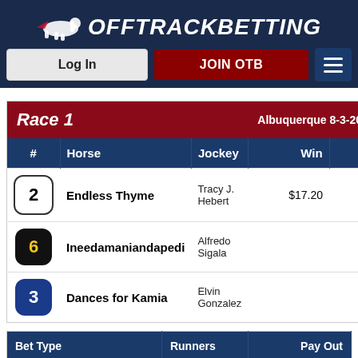[Figure (logo): OffTrackBetting logo with horse silhouette and text]
Log In
JOIN OTB
| # | Horse | Jockey | Win | Pla |
| --- | --- | --- | --- | --- |
| 2 | Endless Thyme | Tracy J. Hebert | $17.20 | $9 |
| 6 | Ineedamaniandapedi | Alfredo Sigala |  | $10 |
| 3 | Dances for Kamia | Elvin Gonzalez |  |  |
| Bet Type | Runners | Pay Out |
| --- | --- | --- |